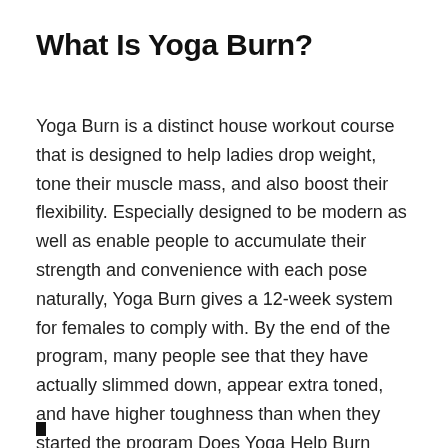What Is Yoga Burn?
Yoga Burn is a distinct house workout course that is designed to help ladies drop weight, tone their muscle mass, and also boost their flexibility. Especially designed to be modern as well as enable people to accumulate their strength and convenience with each pose naturally, Yoga Burn gives a 12-week system for females to comply with. By the end of the program, many people see that they have actually slimmed down, appear extra toned, and have higher toughness than when they started the program Does Yoga Help Burn Belly Fat.